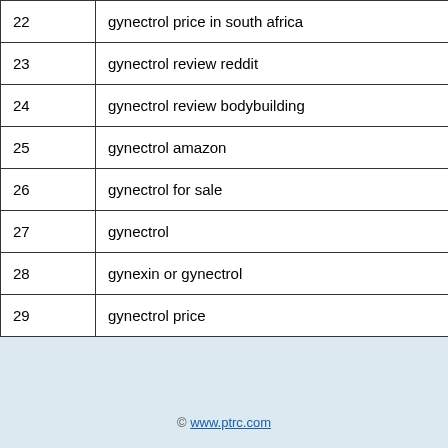| 22 | gynectrol price in south africa | One Lions… |
| 23 | gynectrol review reddit | la vita… |
| 24 | gynectrol review bodybuilding | Wher numb… |
| 25 | gynectrol amazon |  |
| 26 | gynectrol for sale |  |
| 27 | gynectrol | Make… |
| 28 | gynexin or gynectrol |  |
| 29 | gynectrol price | Conc borer… |
© www.ptrc.com